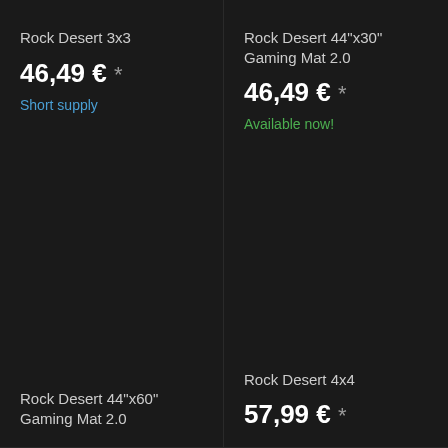Rock Desert 3x3
46,49 € *
Short supply
Rock Desert 44"x30" Gaming Mat 2.0
46,49 € *
Available now!
Rock Desert 44"x60" Gaming Mat 2.0
Rock Desert 4x4
57,99 € *